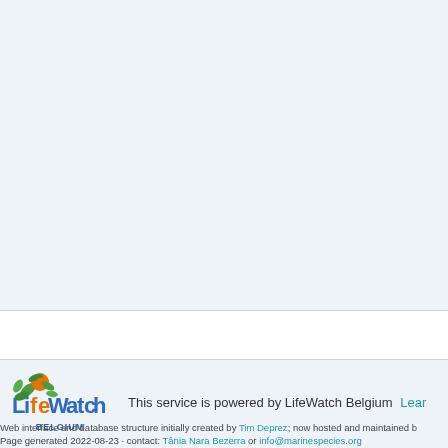[Figure (logo): LifeWatch Belgium logo with colorful fruit/leaf illustration and text BELGIUM below]
This service is powered by LifeWatch Belgium   Learn
Web interface and database structure initially created by Tim Deprez; now hosted and maintained b
Page generated 2022-08-23 · contact: Tânia Nara Bezerra or info@marinespecies.org